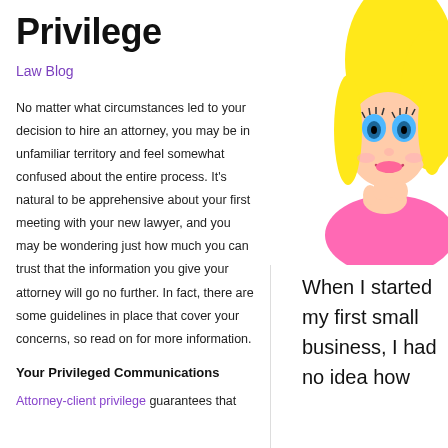Privilege
Law Blog
No matter what circumstances led to your decision to hire an attorney, you may be in unfamiliar territory and feel somewhat confused about the entire process. It's natural to be apprehensive about your first meeting with your new lawyer, and you may be wondering just how much you can trust that the information you give your attorney will go no further. In fact, there are some guidelines in place that cover your concerns, so read on for more information.
Your Privileged Communications
Attorney-client privilege guarantees that
[Figure (illustration): Cartoon illustration of a blonde woman with blue eyes and pink lips, shown from shoulders up, on right side of page]
When I started my first small business, I had no idea how